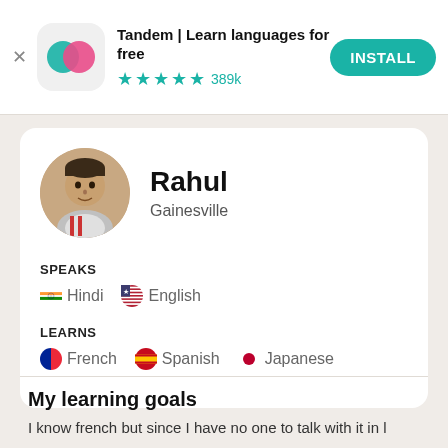[Figure (screenshot): Tandem app install banner with icon, star rating 4.5 stars 389k reviews, and INSTALL button]
Tandem | Learn languages for free
★★★★★ 389k
INSTALL
Rahul
Gainesville
SPEAKS
Hindi   English
LEARNS
French   Spanish   Japanese
My learning goals
I know french but since I have no one to talk with it in l